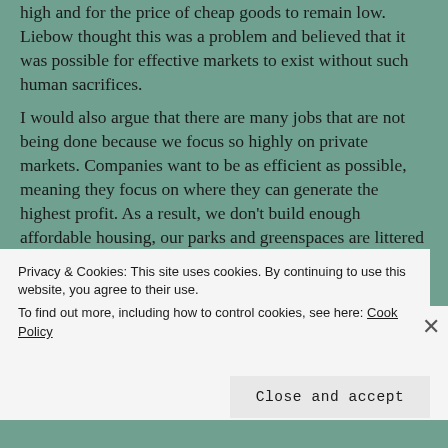high and for the price of cheap goods to remain low. Liebow thought this was a problem and believed that it was possible for effective markets to exist without such human sacrifices.
I would also argue that there are many jobs that are not being done because we focus so highly on private markets. Companies want to be as efficient as possible, meaning they focus on where they can generate the highest profit. As a result, we don't build enough affordable housing, our parks and greenspaces are littered with trash that no one is incentivized to clean, and lots of recycling goes to landfills instead of being sorted and reused. These are not all wonderful jobs and it would be hard to get homeless people to do these
Privacy & Cookies: This site uses cookies. By continuing to use this website, you agree to their use.
To find out more, including how to control cookies, see here: Cookie Policy
Close and accept